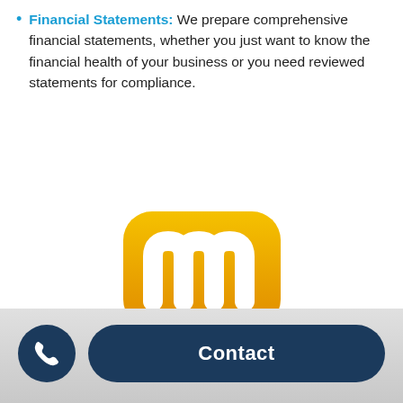Financial Statements: We prepare comprehensive financial statements, whether you just want to know the financial health of your business or you need reviewed statements for compliance.
[Figure (logo): Yellow speech-bubble shaped logo with a white lowercase letter 'm' in the center]
Contact